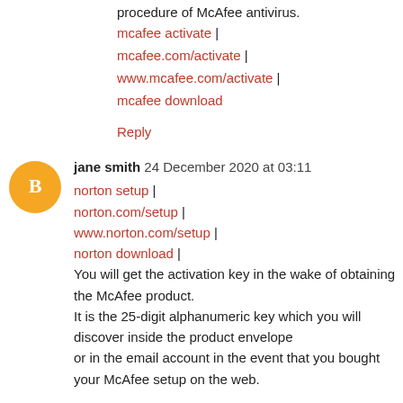procedure of McAfee antivirus.
mcafee activate |
mcafee.com/activate |
www.mcafee.com/activate |
mcafee download
Reply
jane smith 24 December 2020 at 03:11
norton setup |
norton.com/setup |
www.norton.com/setup |
norton download |
You will get the activation key in the wake of obtaining the McAfee product.
It is the 25-digit alphanumeric key which you will discover inside the product envelope
or in the email account in the event that you bought your McAfee setup on the web.
Reply